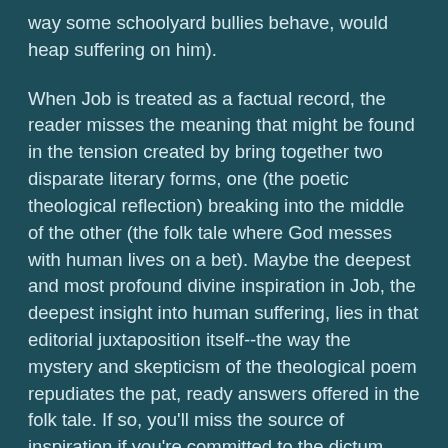way some schoolyard bullies behave, would heap suffering on him).
When Job is treated as a factual record, the reader misses the meaning that might be found in the tension created by bring together two disparate literary forms, one (the poetic theological reflection) breaking into the middle of the other (the folk tale where God messes with human lives on a bet). Maybe the deepest and most profound divine inspiration in Job, the deepest insight into human suffering, lies in that editorial juxtaposition itself--the way the mystery and skepticism of the theological poem repudiates the pat, ready answers offered in the folk tale. If so, you'll miss the source of inspiration if you're committed to the dictum, "The text says here that God shattered Job’s life on a bet, so it must be a fact of cosmic history that God shattered Job’s life on a bet."
It’s like a bunch of engineers without any literary imagination who have gotten hold of great literature.
Now I have friends who are engineers, and some of them